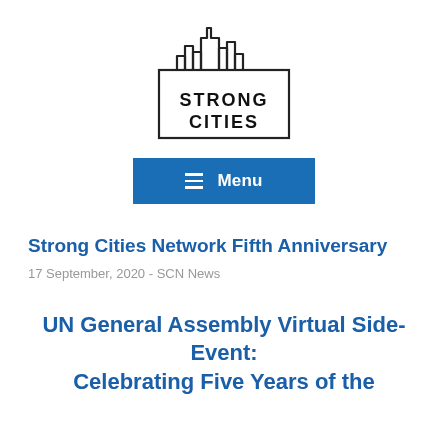[Figure (logo): Strong Cities logo — stylized city skyline silhouette above a rectangular border containing the text STRONG CITIES]
[Figure (other): Blue menu button with hamburger icon and text 'Menu']
Strong Cities Network Fifth Anniversary
17 September, 2020 - SCN News
UN General Assembly Virtual Side-Event: Celebrating Five Years of the